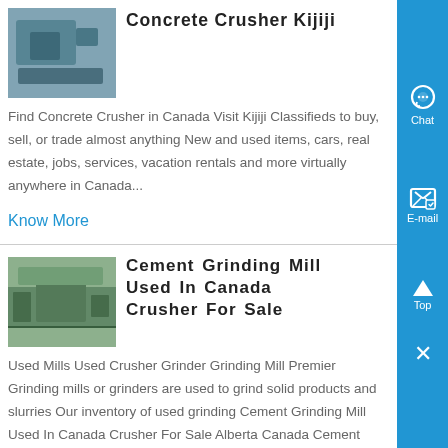Concrete Crusher Kijiji
[Figure (photo): Industrial concrete crusher machine in a facility]
Find Concrete Crusher in Canada Visit Kijiji Classifieds to buy, sell, or trade almost anything New and used items, cars, real estate, jobs, services, vacation rentals and more virtually anywhere in Canada...
Know More
Cement Grinding Mill Used In Canada Crusher For Sale
[Figure (photo): Industrial cement grinding mill facility interior]
Used Mills Used Crusher Grinder Grinding Mill Premier Grinding mills or grinders are used to grind solid products and slurries Our inventory of used grinding Cement Grinding Mill Used In Canada Crusher For Sale Alberta Canada Cement Crusher S...